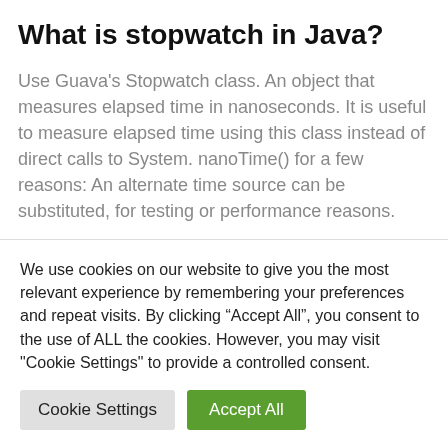What is stopwatch in Java?
Use Guava’s Stopwatch class. An object that measures elapsed time in nanoseconds. It is useful to measure elapsed time using this class instead of direct calls to System. nanoTime() for a few reasons: An alternate time source can be substituted, for testing or performance reasons.
How is SQL query execution time calculated in Java?
We use cookies on our website to give you the most relevant experience by remembering your preferences and repeat visits. By clicking “Accept All”, you consent to the use of ALL the cookies. However, you may visit "Cookie Settings" to provide a controlled consent.